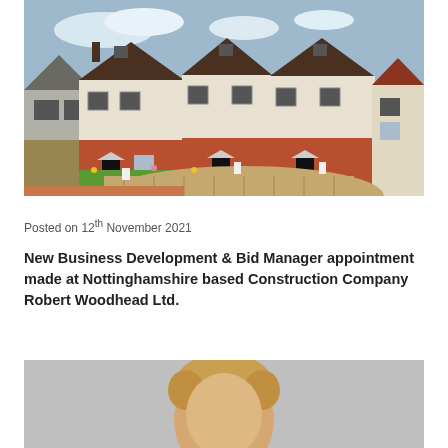[Figure (photo): Photograph of a row of newly built terraced houses with red brick lower floors, cream rendered upper floors, brown roofs, front gardens with lawns and paving, and a brick-paved shared driveway. Neighbouring houses visible on either side.]
Posted on 12th November 2021
New Business Development & Bid Manager appointment made at Nottinghamshire based Construction Company Robert Woodhead Ltd.
[Figure (photo): Partial photograph of a person's head with blonde/light brown hair, shown from the top, against a grey background.]